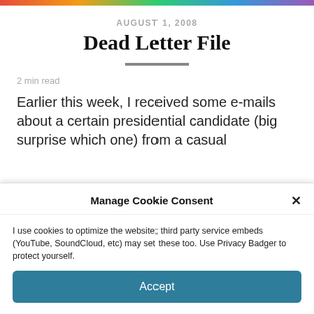AUGUST 1, 2008
Dead Letter File
2 min read
Earlier this week, I received some e-mails about a certain presidential candidate (big surprise which one) from a casual
Manage Cookie Consent
I use cookies to optimize the website; third party service embeds (YouTube, SoundCloud, etc) may set these too. Use Privacy Badger to protect yourself.
Accept